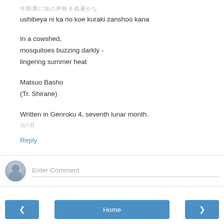牛部屋に蚊の声暗き残暑かな
ushibeya ni ka no koe kuraki zanshoo kana
In a cowshed,
mosquitoes buzzing darkly -
lingering summer heat
Matsuo Basho
(Tr. Shirane)
Written in Genroku 4, seventh lunar month.
元禄4年7月
Reply
Enter Comment
Home